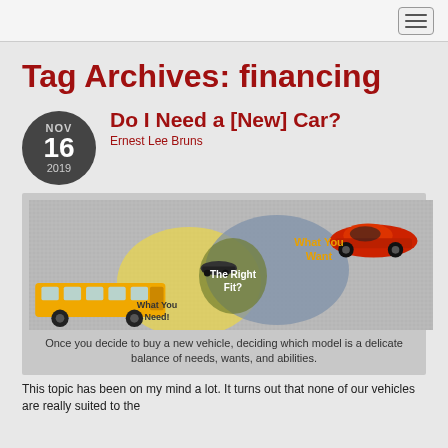Tag Archives: financing
Do I Need a [New] Car?
Ernest Lee Bruns
[Figure (infographic): Venn diagram showing 'What You Want' (with a red sports car), 'What You Need' (with a yellow school bus), and the intersection 'The Right Fit?' (with a dark car). Background is a grey textured pattern.]
Once you decide to buy a new vehicle, deciding which model is a delicate balance of needs, wants, and abilities.
This topic has been on my mind a lot. It turns out that none of our vehicles are really suited to the